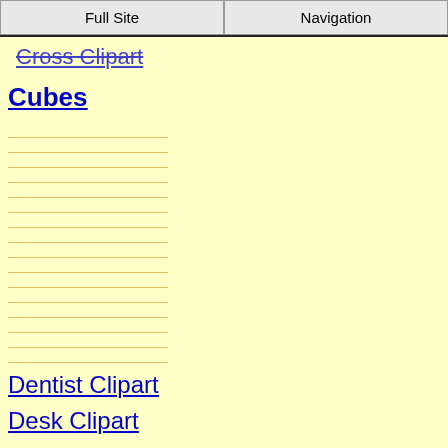Full Site | Navigation
Cross Clipart
Cubes
Dentist Clipart
Desk Clipart
Dinosaur Clipart
Doctor Clipart
Dog Clipart
Doll Clipart
Dolphin Clipart